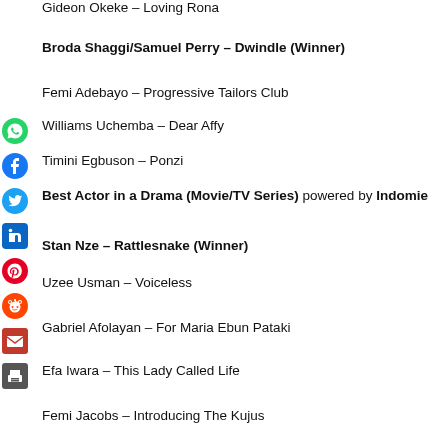Gideon Okeke – Loving Rona
Broda Shaggi/Samuel Perry – Dwindle (Winner)
Femi Adebayo – Progressive Tailors Club
Williams Uchemba – Dear Affy
Timini Egbuson – Ponzi
Best Actor in a Drama (Movie/TV Series) powered by Indomie
Stan Nze – Rattlesnake (Winner)
Uzee Usman – Voiceless
Gabriel Afolayan – For Maria Ebun Pataki
Efa Iwara – This Lady Called Life
Femi Jacobs – Introducing The Kujus